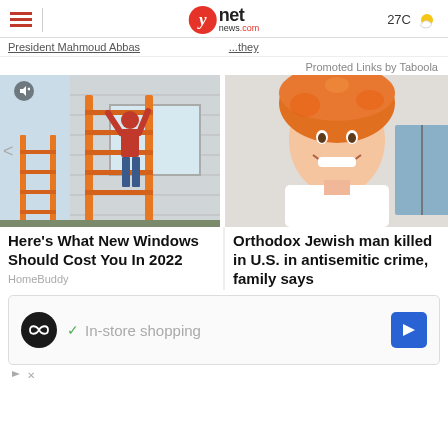ynet news.com — 27C weather
President Mahmoud Abbas ... Taboola
Promoted Links by Taboola
[Figure (photo): Workers on an orange ladder installing new windows on the side of a house]
[Figure (photo): Young man wearing an orange furry hat, smiling, in a white t-shirt]
Here's What New Windows Should Cost You In 2022
HomeBuddy
Orthodox Jewish man killed in U.S. in antisemitic crime, family says
[Figure (screenshot): Advertisement: circular black logo with infinity symbol, checkmark, In-store shopping text, blue diamond arrow icon]